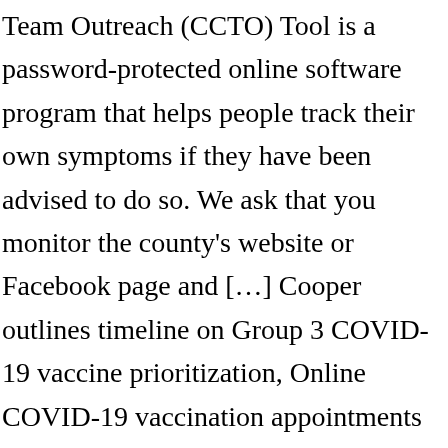Team Outreach (CCTO) Tool is a password-protected online software program that helps people track their own symptoms if they have been advised to do so. We ask that you monitor the county's website or Facebook page and […] Cooper outlines timeline on Group 3 COVID-19 vaccine prioritization, Online COVID-19 vaccination appointments coming soon, Pender County seeks equitable COVID-19 vaccine distribution, Vaccine Site Location finder goes live today, Letter from NC Health and Human Services